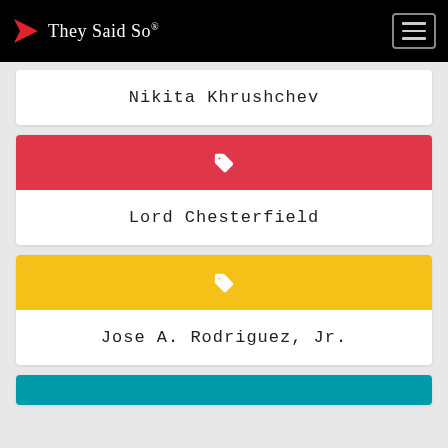They Said So®
Nikita Khrushchev
Lord Chesterfield
Jose A. Rodriguez, Jr.